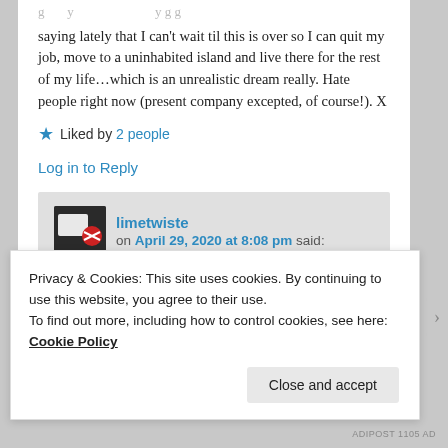saying lately that I can't wait til this is over so I can quit my job, move to a uninhabited island and live there for the rest of my life…which is an unrealistic dream really. Hate people right now (present company excepted, of course!). X
★ Liked by 2 people
Log in to Reply
limetwiste on April 29, 2020 at 8:08 pm said:
Privacy & Cookies: This site uses cookies. By continuing to use this website, you agree to their use.
To find out more, including how to control cookies, see here: Cookie Policy
Close and accept